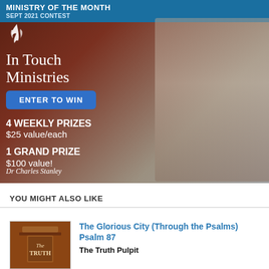[Figure (infographic): In Touch Ministries Ministry of the Month September 2021 Contest advertisement featuring Dr Charles Stanley. Blue header bar with ministry branding, logo icon, organization name in serif font, blue Enter to Win button, prize details (4 weekly prizes $25 value/each, 1 grand prize $100 value!), and photo of Dr Charles Stanley on the right side.]
YOU MIGHT ALSO LIKE
[Figure (photo): Thumbnail image of a wooden pulpit with text 'The TRUTH' visible]
The Glorious City (Through the Psalms) Psalm 87
The Truth Pulpit